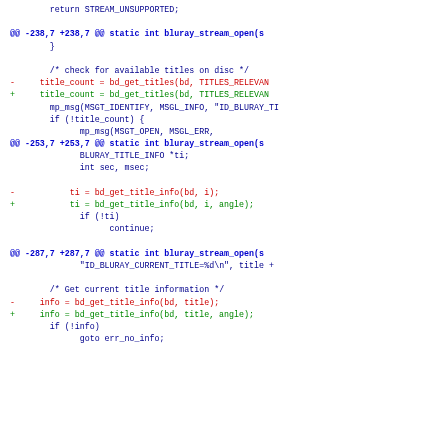Code diff showing changes to bluray_stream_open function including bd_get_titles and bd_get_title_info calls with angle parameter added